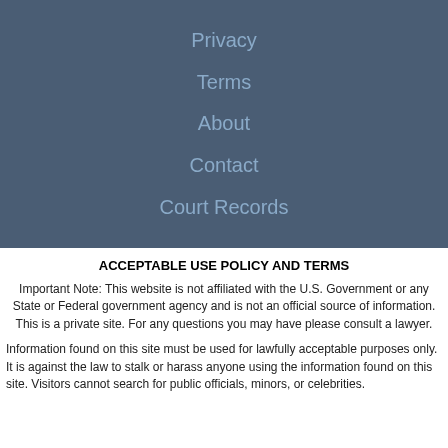Privacy
Terms
About
Contact
Court Records
ACCEPTABLE USE POLICY AND TERMS
Important Note: This website is not affiliated with the U.S. Government or any State or Federal government agency and is not an official source of information. This is a private site. For any questions you may have please consult a lawyer.
Information found on this site must be used for lawfully acceptable purposes only. It is against the law to stalk or harass anyone using the information found on this site. Visitors cannot search for public officials, minors, or celebrities.